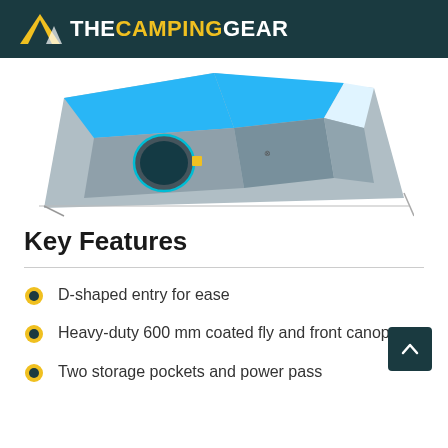THECAMPINGGEAR
[Figure (photo): A camping tent shown from an elevated angle, blue and gray colors, with a front canopy structure.]
Key Features
D-shaped entry for ease
Heavy-duty 600 mm coated fly and front canopy
Two storage pockets and power pass